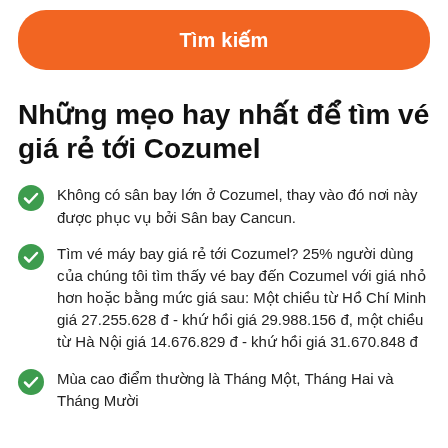[Figure (other): Orange rounded button with white bold text 'Tìm kiếm']
Những mẹo hay nhất để tìm vé giá rẻ tới Cozumel
Không có sân bay lớn ở Cozumel, thay vào đó nơi này được phục vụ bởi Sân bay Cancun.
Tìm vé máy bay giá rẻ tới Cozumel? 25% người dùng của chúng tôi tìm thấy vé bay đến Cozumel với giá nhỏ hơn hoặc bằng mức giá sau: Một chiều từ Hồ Chí Minh giá 27.255.628 đ - khứ hồi giá 29.988.156 đ, một chiều từ Hà Nội giá 14.676.829 đ - khứ hồi giá 31.670.848 đ
Mùa cao điểm thường là Tháng Một, Tháng Hai và Tháng Mười